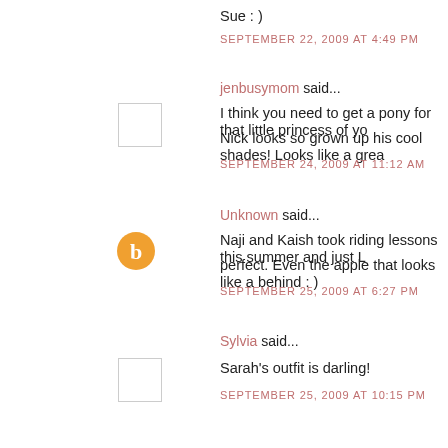Sue : )
SEPTEMBER 22, 2009 AT 4:49 PM
jenbusymom said...
I think you need to get a pony for that little princess of yo...
Nick looks so grown up his cool shades! Looks like a grea...
SEPTEMBER 24, 2009 AT 11:12 AM
Unknown said...
Naji and Kaish took riding lessons this summer and just L... perfect. Even the apple that looks like a behind : )
SEPTEMBER 25, 2009 AT 6:27 PM
Sylvia said...
Sarah's outfit is darling!
SEPTEMBER 25, 2009 AT 10:15 PM